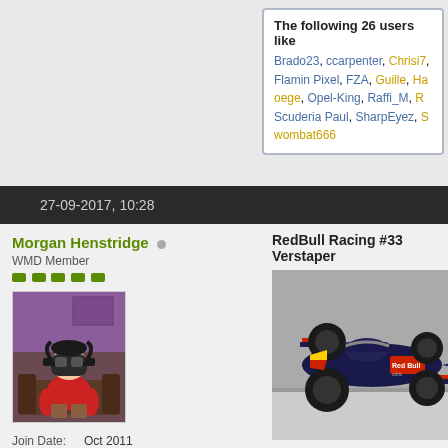The following 26 users like... Brado23, ccarpenter, Chrisi7... Flamin Pixel, FZA, Guille, Ha... oege, Opel-King, Raffi_M, R... Scuderia Paul, SharpEyez, S... wombat666
27-09-2017, 10:28
Morgan Henstridge
WMD Member
Join Date: Oct 2011
Location: In The Redline
Posts: 992
Platform: PC
RedBull Racing #33 Verstapen
[Figure (photo): Red Bull Racing F1 car #33 Verstappen on track]